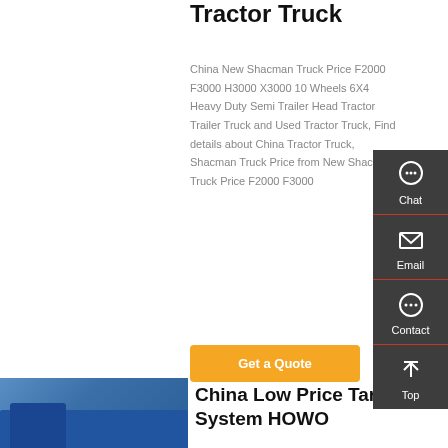Tractor Truck
China New Shacman Truck Price F2000 F3000 H3000 X3000 10 Wheels 6X4 Heavy Duty Semi Trailer Head Tractor Trailer Truck and Used Tractor Truck, Find details about China Tractor Truck, Shacman Truck Price from New Shacman Truck Price F2000 F3000
Get a Quote
[Figure (photo): Blue dump truck parked outdoors]
China Low Price Tarp System HOWO